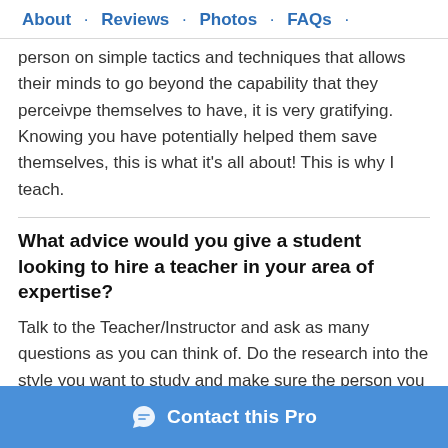About · Reviews · Photos · FAQs ·
person on simple tactics and techniques that allows their minds to go beyond the capability that they perceivpe themselves to have, it is very gratifying. Knowing you have potentially helped them save themselves, this is what it's all about! This is why I teach.
What advice would you give a student looking to hire a teacher in your area of expertise?
Talk to the Teacher/Instructor and ask as many questions as you can think of. Do the research into the style you want to study and make sure the person you are coming to is qualified for the job! Remember this is your life we
Contact this Pro